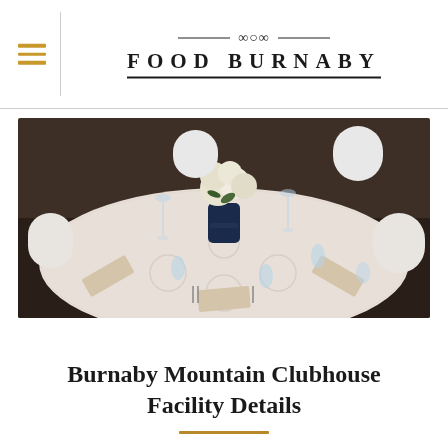FOOD BURNABY
[Figure (photo): Elegant round banquet table set for a formal event with white textured tablecloth, champagne-colored satin napkins, silverware, glassware, and a floral centerpiece with white and yellow flowers in a navy blue vase. White chair covers visible around the table in a dimly lit event hall.]
Burnaby Mountain Clubhouse Facility Details